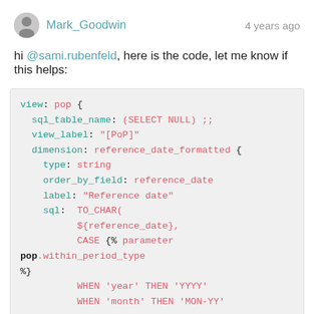Mark_Goodwin   4 years ago
hi @sami.rubenfeld, here is the code, let me know if this helps:
view: pop {
  sql_table_name: (SELECT NULL) ;;
  view_label: "[PoP]"
  dimension: reference_date_formatted {
    type: string
    order_by_field: reference_date
    label: "Reference date"
    sql:  TO_CHAR(
          ${reference_date},
          CASE {% parameter pop.within_period_type
%}          WHEN 'year' THEN 'YYYY'
            WHEN 'month' THEN 'MON-YY'